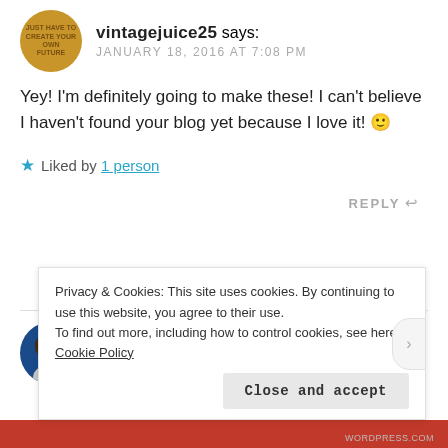[Figure (photo): Circular avatar badge with gold/amber background and small text]
vintagejuice25 says:
JANUARY 18, 2016 AT 7:08 PM
Yey! I'm definitely going to make these! I can't believe I haven't found your blog yet because I love it! 🙂
★ Liked by 1 person
REPLY ↩
[Figure (photo): Circular avatar photo of a woman with dark hair on blue background]
penneyvanderbilt says:
JANUARY 18, 2016 AT 1:13 PM
Privacy & Cookies: This site uses cookies. By continuing to use this website, you agree to their use.
To find out more, including how to control cookies, see here: Cookie Policy
Close and accept